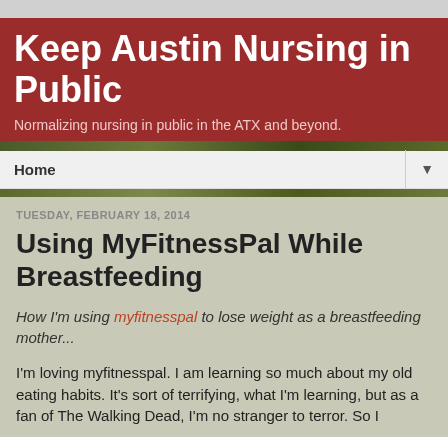Keep Austin Nursing in Public
Normalizing nursing in public in the ATX and beyond.
Home
TUESDAY, FEBRUARY 18, 2014
Using MyFitnessPal While Breastfeeding
How I'm using myfitnesspal to lose weight as a breastfeeding mother...
I'm loving myfitnesspal.  I am learning so much about my old eating habits.  It's sort of terrifying, what I'm learning, but as a fan of The Walking Dead, I'm no stranger to terror.  So I